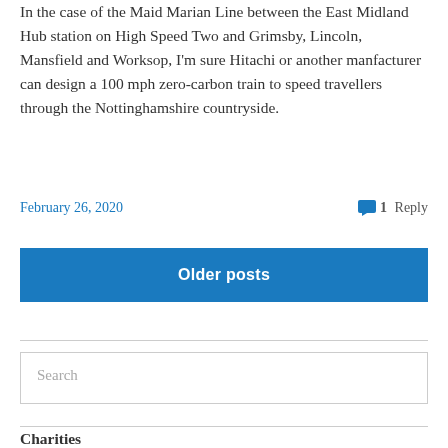In the case of the Maid Marian Line between the East Midland Hub station on High Speed Two and Grimsby, Lincoln, Mansfield and Worksop, I'm sure Hitachi or another manfacturer can design a 100 mph zero-carbon train to speed travellers through the Nottinghamshire countryside.
February 26, 2020
1 Reply
Older posts
Search
Charities